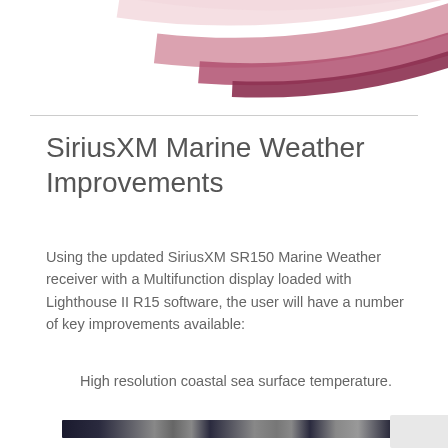[Figure (logo): Partial SiriusXM logo — pink/rose curved arc stripes on white background, cropped at top]
SiriusXM Marine Weather Improvements
Using the updated SiriusXM SR150 Marine Weather receiver with a Multifunction display loaded with Lighthouse II R15 software, the user will have a number of key improvements available:
High resolution coastal sea surface temperature.
[Figure (screenshot): Partial screenshot of a marine multifunction display interface toolbar, dark navy background with icons]